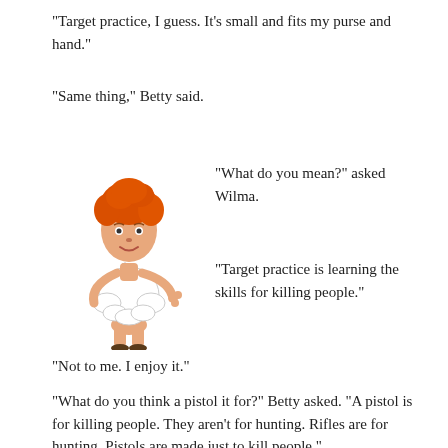“Target practice, I guess. It’s small and fits my purse and hand.”
“Same thing,” Betty said.
[Figure (illustration): Cartoon illustration of Wilma Flintstone from The Flintstones, wearing a white dress, with red/orange hair, posed with one hand on hip.]
“What do you mean?” asked Wilma.
“Target practice is learning the skills for killing people.”
“Not to me. I enjoy it.”
“What do you think a pistol it for?” Betty asked. “A pistol is for killing people. They aren’t for hunting. Rifles are for hunting. Pistols are made just to kill people.”